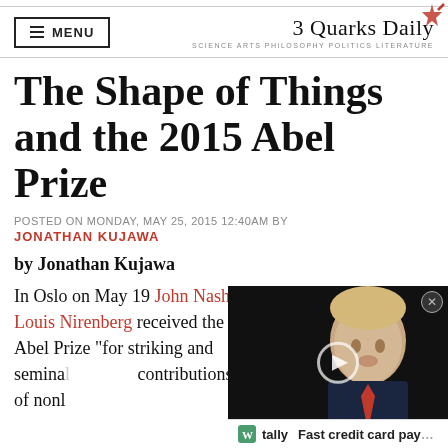MENU | 3 Quarks Daily — SCIENCE ARTS PHILOSOPHY POLITICS LITERATURE
The Shape of Things and the 2015 Abel Prize
POSTED ON MONDAY, MAY 25, 2015 12:40AM BY
JONATHAN KUJAWA
by Jonathan Kujawa
In Oslo on May 19 John Nash and Louis Nirenberg received the Abel Prize "for striking and semina' contributions to the of nonl
[Figure (photo): Video overlay showing a person in a suit with a red tie, with a play button. Below is an ad bar reading 'Fast credit card pay...' with a Tally logo. Upper right corner has a medal/coin image.]